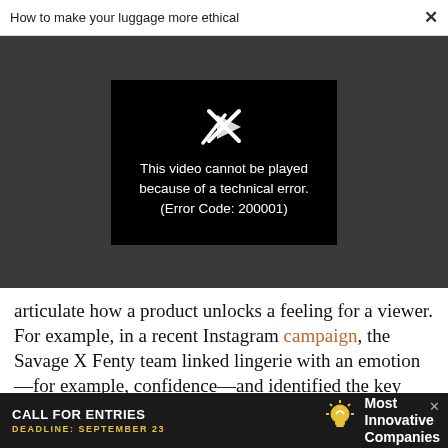How to make your luggage more ethical   ×
[Figure (screenshot): Video player showing error message: 'This video cannot be played because of a technical error. (Error Code: 200001)' on a black background, within a dark gray video player area.]
articulate how a product unlocks a feeling for a viewer. For example, in a recent Instagram campaign, the Savage X Fenty team linked lingerie with an emotion—for example, confidence—and identified the key benefit for customers: enabling them to look their best. Finally, you should be able to describe
[Figure (infographic): Advertisement banner: CALL FOR ENTRIES DEADLINE: SEPTEMBER 23 [lightbulb icon] Most Innovative Companies]